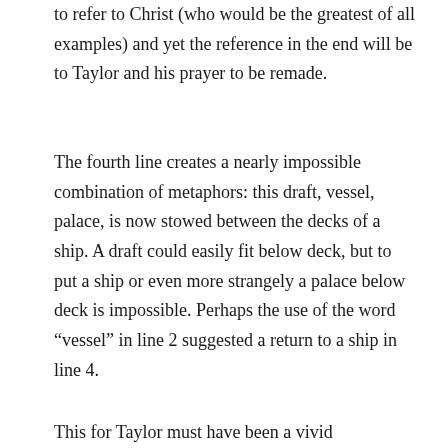to refer to Christ (who would be the greatest of all examples) and yet the reference in the end will be to Taylor and his prayer to be remade.
The fourth line creates a nearly impossible combination of metaphors: this draft, vessel, palace, is now stowed between the decks of a ship. A draft could easily fit below deck, but to put a ship or even more strangely a palace below deck is impossible. Perhaps the use of the word “vessel” in line 2 suggested a return to a ship in line 4.
This for Taylor must have been a vivid